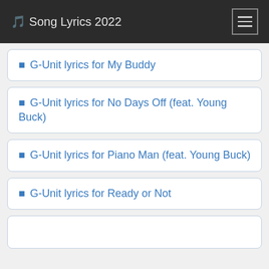🎵 Song Lyrics 2022
G-Unit lyrics for My Buddy
G-Unit lyrics for No Days Off (feat. Young Buck)
G-Unit lyrics for Piano Man (feat. Young Buck)
G-Unit lyrics for Ready or Not
(partial card)